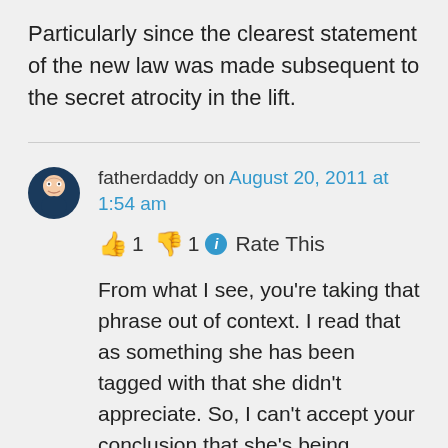Particularly since the clearest statement of the new law was made subsequent to the secret atrocity in the lift.
fatherdaddy on August 20, 2011 at 1:54 am
👍 1 👎 1 ℹ Rate This
From what I see, you're taking that phrase out of context. I read that as something she has been tagged with that she didn't appreciate. So, I can't accept your conclusion that she's being hypocritical.